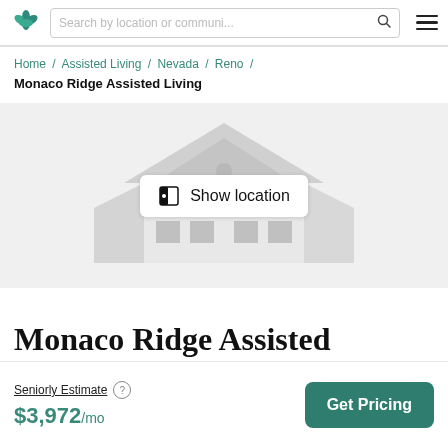Seniorly logo | Search by location or communi... | Menu
Home / Assisted Living / Nevada / Reno / Monaco Ridge Assisted Living
[Figure (illustration): Gray placeholder illustration of a house/building with a white 'Show location' button overlay containing a map icon]
Monaco Ridge Assisted
Seniorly Estimate ? $3,972/mo
Get Pricing